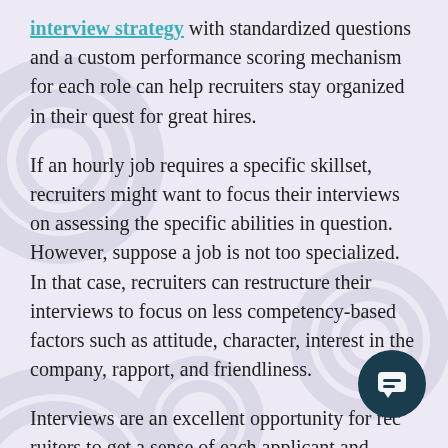interview strategy with standardized questions and a custom performance scoring mechanism for each role can help recruiters stay organized in their quest for great hires.
If an hourly job requires a specific skillset, recruiters might want to focus their interviews on assessing the specific abilities in question. However, suppose a job is not too specialized. In that case, recruiters can restructure their interviews to focus on less competency-based factors such as attitude, character, interest in the company, rapport, and friendliness.
Interviews are an excellent opportunity for recruiters to get a sense of each applicant and whether they